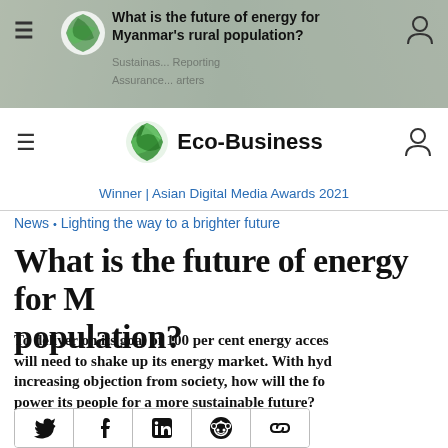[Figure (screenshot): Banner ad/header image with text overlay about Myanmar energy article]
What is the future of energy for Myanmar's rural population?
[Figure (logo): Eco-Business logo with green globe icon]
Winner | Asian Digital Media Awards 2021
News • Lighting the way to a brighter future
What is the future of energy for Myanmar's rural population?
To deliver on its goal of 100 per cent energy access, will need to shake up its energy market. With hydro facing increasing objection from society, how will the former power its people for a more sustainable future?